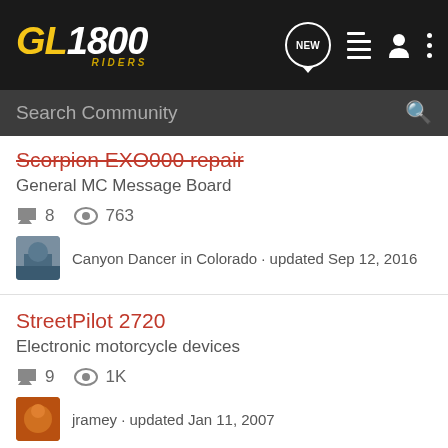[Figure (screenshot): GL1800 Riders forum navigation bar with logo, NEW button, list icon, user icon, and dots menu icon on dark background]
Search Community
Scorpion EXO000 repair · General MC Message Board · 8 comments · 763 views · Canyon Dancer in Colorado · updated Sep 12, 2016
StreetPilot 2720 · Electronic motorcycle devices · 9 comments · 1K views · jramey · updated Jan 11, 2007
Garmin... · Electronic...